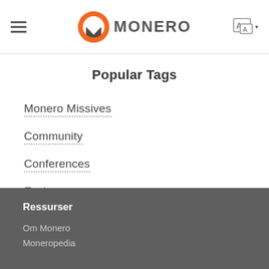MONERO
Popular Tags
Monero Missives
Community
Conferences
Exchanges
Ressurser
Om Monero
Moneropedia